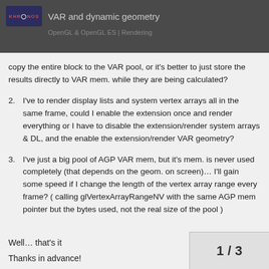VAR and dynamic geometry
copy the entire block to the VAR pool, or it's better to just store the results directly to VAR mem. while they are being calculated?
2. I've to render display lists and system vertex arrays all in the same frame, could I enable the extension once and render everything or I have to disable the extension/render system arrays & DL, and the enable the extension/render VAR geometry?
3. I've just a big pool of AGP VAR mem, but it's mem. is never used completely (that depends on the geom. on screen)… I'll gain some speed if I change the length of the vertex array range every frame? ( calling glVertexArrayRangeNV with the same AGP mem pointer but the bytes used, not the real size of the pool )
Well… that's it
Thanks in advance!
1 / 3